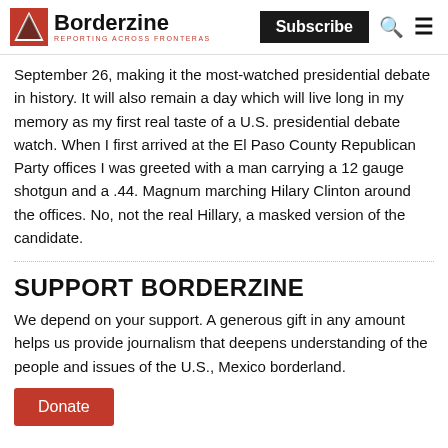Borderzine | REPORTING ACROSS FRONTERAS | Subscribe
September 26, making it the most-watched presidential debate in history. It will also remain a day which will live long in my memory as my first real taste of a U.S. presidential debate watch. When I first arrived at the El Paso County Republican Party offices I was greeted with a man carrying a 12 gauge shotgun and a .44. Magnum marching Hilary Clinton around the offices. No, not the real Hillary, a masked version of the candidate.
SUPPORT BORDERZINE
We depend on your support. A generous gift in any amount helps us provide journalism that deepens understanding of the people and issues of the U.S., Mexico borderland.
Donate
FOLLOW BORDERZINE